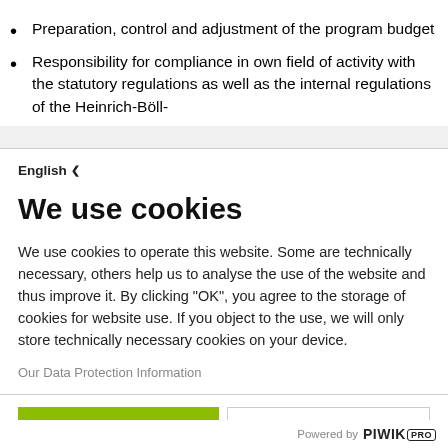Preparation, control and adjustment of the program budget
Responsibility for compliance in own field of activity with the statutory regulations as well as the internal regulations of the Heinrich-Böll-
English ▾
We use cookies
We use cookies to operate this website. Some are technically necessary, others help us to analyse the use of the website and thus improve it. By clicking "OK", you agree to the storage of cookies for website use. If you object to the use, we will only store technically necessary cookies on your device.
Our Data Protection Information
OK
No, thank you
Powered by PIWIK PRO